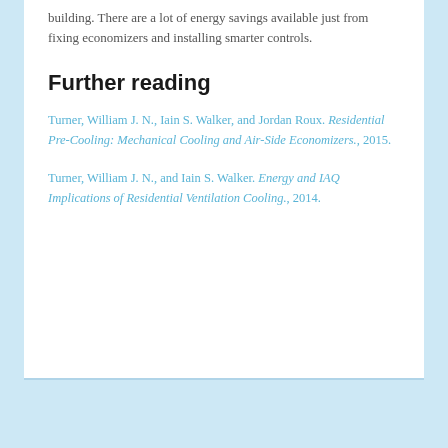building. There are a lot of energy savings available just from fixing economizers and installing smarter controls.
Further reading
Turner, William J. N., Iain S. Walker, and Jordan Roux. Residential Pre-Cooling: Mechanical Cooling and Air-Side Economizers., 2015.
Turner, William J. N., and Iain S. Walker. Energy and IAQ Implications of Residential Ventilation Cooling., 2014.